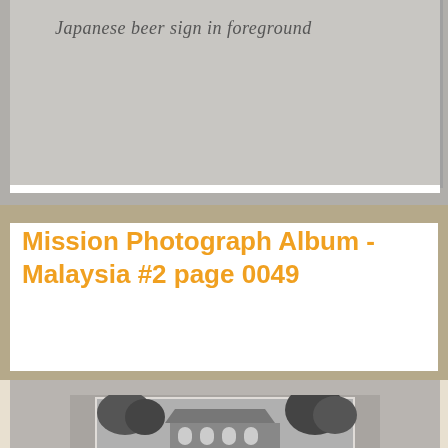[Figure (photo): Top portion of a scanned photograph album page showing a handwritten caption reading 'Japanese beer sign in foreground' on a grey background]
Japanese beer sign in foreground
Mission Photograph Album - Malaysia #2 page 0049
[Figure (photo): Bottom portion of a scanned photograph album page showing a black and white photograph of a church building with arched windows surrounded by tropical trees]